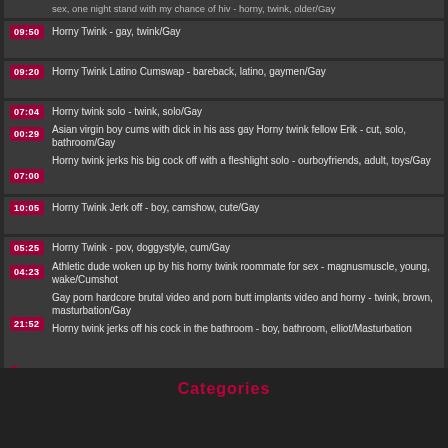sex, one night stand with my chance of hiv - horny, twink, older/Gay
09:50 Horny Twink - gay, twink/Gay
09:20 Horny Twink Latino Cumswap - bareback, latino, gaymen/Gay
07:04 Horny twink solo - twink, solo/Gay | 00:29 Asian virgin boy cums with dick in his ass gay Horny twink fellow Erik - cut, solo, bathroom/Gay | 07:00 Horny twink jerks his big cock off with a fleshlight solo - ourboyfriends, adult, toys/Gay
10:05 Horny Twink Jerk off - boy, camshow, cute/Gay
05:25 Horny Twink - pov, doggystyle, cum/Gay | 04:23 Athletic dude woken up by his horny twink roommate for sex - magnusmuscle, young, wake/Cumshot | 21:52 Gay porn hardcore brutal video and porn butt implants video and horny - twink, brown, masturbation/Gay | 07:35 Horny twink jerks off his cock in the bathroom - boy, bathroom, elliot/Masturbation
07:35
Categories